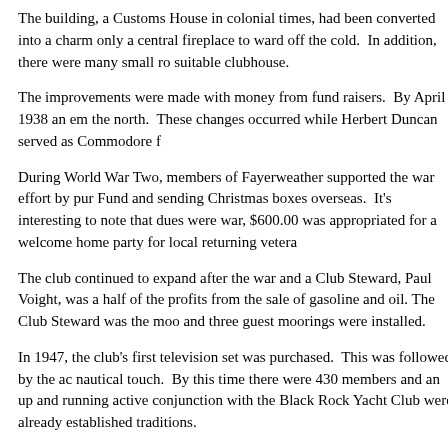The building, a Customs House in colonial times, had been converted into a charm... only a central fireplace to ward off the cold. In addition, there were many small ro... suitable clubhouse.
The improvements were made with money from fund raisers. By April 1938 an em... the north. These changes occurred while Herbert Duncan served as Commodore fr...
During World War Two, members of Fayerweather supported the war effort by pur... Fund and sending Christmas boxes overseas. It's interesting to note that dues were... war, $600.00 was appropriated for a welcome home party for local returning vetera...
The club continued to expand after the war and a Club Steward, Paul Voight, was a... half of the profits from the sale of gasoline and oil. The Club Steward was the moo... and three guest moorings were installed.
In 1947, the club's first television set was purchased. This was followed by the ac... nautical touch. By this time there were 430 members and an up and running active... conjunction with the Black Rock Yacht Club were already established traditions.
Capital improvements continued during the 1950's. Four new floats, built at City I... was designed and fabricated by Mr. Paul at a cost of $350.00. Three members, Me... installation. In 1952, planning for a new locker building, to cost $8,785 was under... wall, was under discussion. By this time the membership had increased to 473 me...
In 1954 the Fog Horn, the club newsletter, was founded thanks to the efforts of Ch...
In 1957...